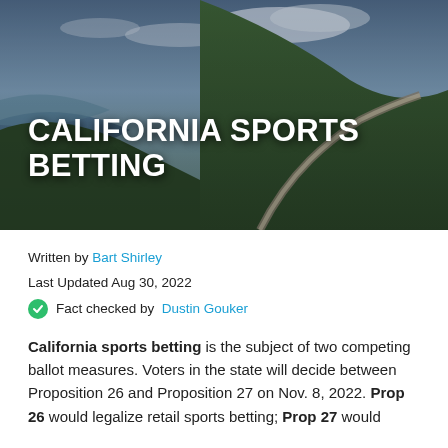[Figure (photo): Aerial/scenic photo of California coastal highway winding along green cliffs with ocean and cloudy sky in background, used as hero image with dark overlay]
CALIFORNIA SPORTS BETTING
Written by Bart Shirley
Last Updated Aug 30, 2022
Fact checked by Dustin Gouker
California sports betting is the subject of two competing ballot measures. Voters in the state will decide between Proposition 26 and Proposition 27 on Nov. 8, 2022. Prop 26 would legalize retail sports betting; Prop 27 would